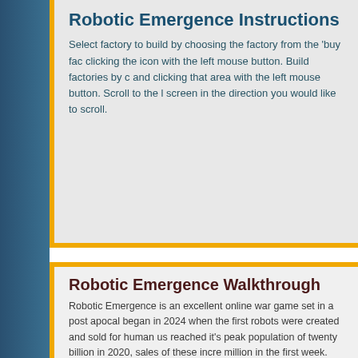Robotic Emergence Instructions
Select factory to build by choosing the factory from the 'buy fac clicking the icon with the left mouse button. Build factories by c and clicking that area with the left mouse button. Scroll to the l screen in the direction you would like to scroll.
Robotic Emergence Walkthrough
Robotic Emergence is an excellent online war game set in a post apocal began in 2024 when the first robots were created and sold for human us reached it's peak population of twenty billion in 2020, sales of these incre million in the first week. The inherent problem with such huge number wa factories struggling to keep up with demand. Soon pollution was at an all was forced to act. The powers that be devised a plan to create artificial c and send jets to release these chemical clouds over the cities of the wor with that, right? Well, the world soon found out as it was gripped by a pa earth had never seen before. Millions of people died from this pandemic population at less that seventy percent of what it had been. Pretty serio